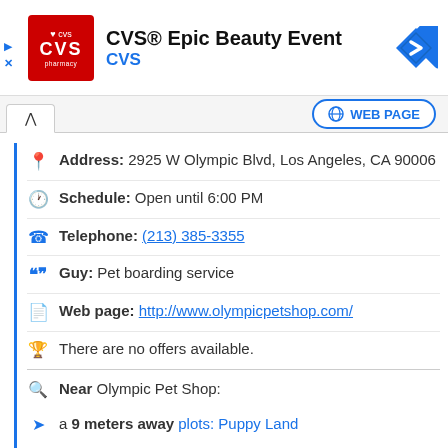[Figure (screenshot): CVS Pharmacy advertisement banner with red logo, text 'CVS® Epic Beauty Event' and blue 'CVS' brand name, blue diamond navigation icon on right, play and close controls on left]
WEB PAGE
Address: 2925 W Olympic Blvd, Los Angeles, CA 90006
Schedule: Open until 6:00 PM
Telephone: (213) 385-3355
Guy: Pet boarding service
Web page: http://www.olympicpetshop.com/
There are no offers available.
Near Olympic Pet Shop:
a 9 meters away plots: Puppy Land
a 9 meters away chihuahua breeders in: PuppyLandLA